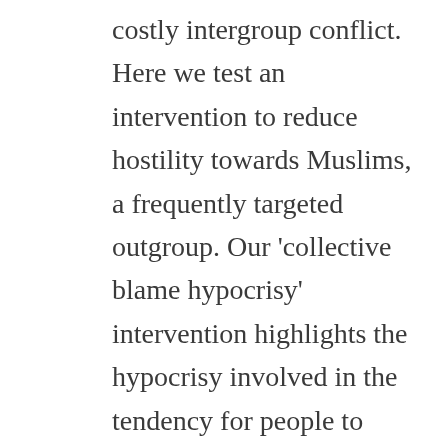costly intergroup conflict. Here we test an intervention to reduce hostility towards Muslims, a frequently targeted outgroup. Our 'collective blame hypocrisy' intervention highlights the hypocrisy involved in the tendency for people to collectively blame outgroup but not ingroup members for blameworthy actions of individual group members. Using both within-subject and between-subject comparisons in a preregistered longitudinal study in Spain, we find that our intervention reduces collective blame of Muslims and downstream anti-Muslim sentiments relative to a matched control condition and that the effects of the intervention persist one month and also one